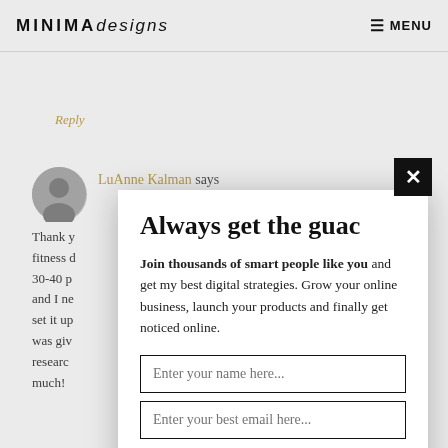MINIMA designs   MENU
Reply
LuAnne Kalman says
Thank y... fitness d... 30-40 p... and I ne... set it up... was giv... researc... much!
Reply
Always get the guac
Join thousands of smart people like you and get my best digital strategies. Grow your online business, launch your products and finally get noticed online.
Enter your name here...
Enter your best email here...
COUNT ME IN!